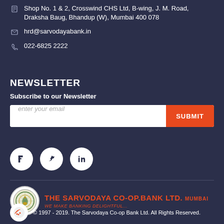Shop No. 1 & 2, Crosswind CHS Ltd, B-wing, J. M. Road, Draksha Baug, Bhandup (W), Mumbai 400 078
hrd@sarvodayabank.in
022-6825 2222
NEWSLETTER
Subscribe to our Newsletter
enter your email
SUBMIT
[Figure (other): Three social media icon circles (Facebook, Twitter/X, LinkedIn) on dark navy background]
[Figure (logo): The Sarvodaya Co-op Bank Ltd. Mumbai logo with circular emblem and orange text]
© 1997 - 2019. The Sarvodaya Co-op Bank Ltd. All Rights Reserved.